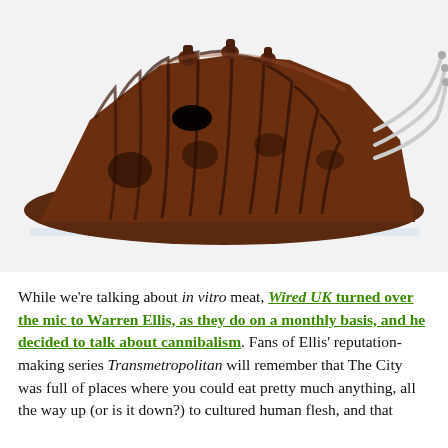[Figure (photo): Photograph of a sculptural artwork resembling a large dark reddish-brown organic form (possibly a sliced insect or meat-like sculpture) on a white surface, with clear tubing protruding from its right side. The object sits on a white acrylic or glass shelf against a light grey/white background.]
While we're talking about in vitro meat, Wired UK turned over the mic to Warren Ellis, as they do on a monthly basis, and he decided to talk about cannibalism. Fans of Ellis' reputation-making series Transmetropolitan will remember that The City was full of places where you could eat pretty much anything, all the way up (or is it down?) to cultured human flesh, and that